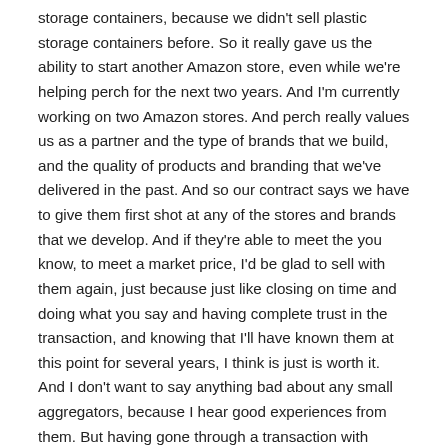storage containers, because we didn't sell plastic storage containers before. So it really gave us the ability to start another Amazon store, even while we're helping perch for the next two years. And I'm currently working on two Amazon stores. And perch really values us as a partner and the type of brands that we build, and the quality of products and branding that we've delivered in the past. And so our contract says we have to give them first shot at any of the stores and brands that we develop. And if they're able to meet the you know, to meet a market price, I'd be glad to sell with them again, just because just like closing on time and doing what you say and having complete trust in the transaction, and knowing that I'll have known them at this point for several years, I think is just is worth it. And I don't want to say anything bad about any small aggregators, because I hear good experiences from them. But having gone through a transaction with them, and know that they're going to pay out $100 million, and give me a lot more